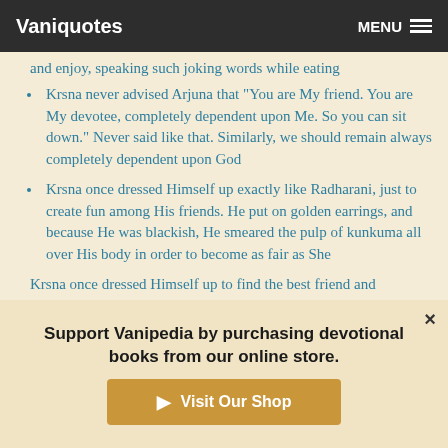Vaniquotes | MENU
and enjoy, speaking such joking words while eating
Krsna never advised Arjuna that "You are My friend. You are My devotee, completely dependent upon Me. So you can sit down." Never said like that. Similarly, we should remain always completely dependent upon God
Krsna once dressed Himself up exactly like Radharani, just to create fun among His friends. He put on golden earrings, and because He was blackish, He smeared the pulp of kunkuma all over His body in order to become as fair as She
Krsna... [cut off]
Support Vanipedia by purchasing devotional books from our online store.
Visit Our Shop